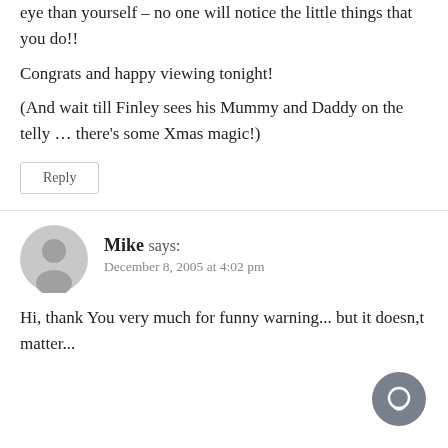eye than yourself – no one will notice the little things that you do!!
Congrats and happy viewing tonight!
(And wait till Finley sees his Mummy and Daddy on the telly … there's some Xmas magic!)
Reply
Mike says:
December 8, 2005 at 4:02 pm
Hi, thank You very much for funny warning... but it doesn,t matter...